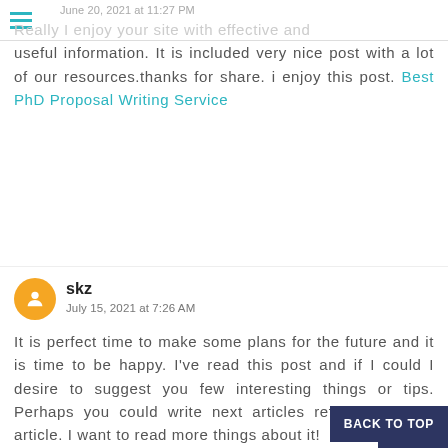June 20, 2021 at 11:27 PM
Really I enjoy your site with effective and useful information. It is included very nice post with a lot of our resources.thanks for share. i enjoy this post. Best PhD Proposal Writing Service
skz
July 15, 2021 at 7:26 AM
It is perfect time to make some plans for the future and it is time to be happy. I've read this post and if I could I desire to suggest you few interesting things or tips. Perhaps you could write next articles referring to this article. I want to read more things about it!